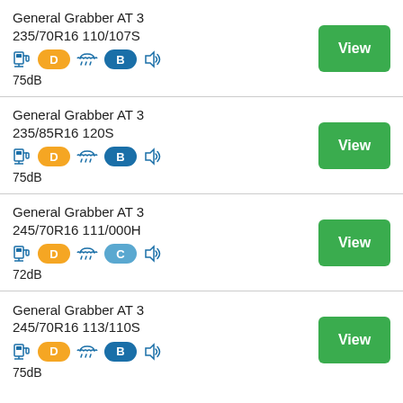General Grabber AT 3
235/70R16 110/107S
D D B 75dB
General Grabber AT 3
235/85R16 120S
D D B 75dB
General Grabber AT 3
245/70R16 111/000H
D D C 72dB
General Grabber AT 3
245/70R16 113/110S
D D B 75dB